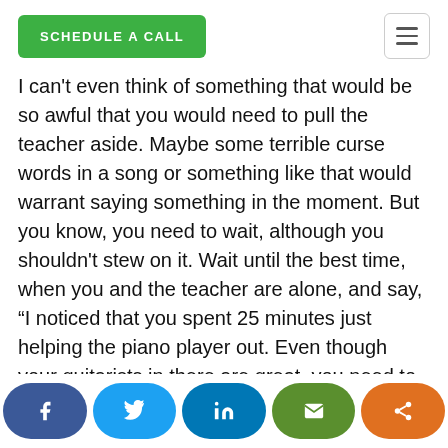SCHEDULE A CALL
I can't even think of something that would be so awful that you would need to pull the teacher aside. Maybe some terrible curse words in a song or something like that would warrant saying something in the moment. But you know, you need to wait, although you shouldn't stew on it. Wait until the best time, when you and the teacher are alone, and say, “I noticed that you spent 25 minutes just helping the piano player out. Even though your guitarists in there are great, you need to be sure that you’re giving everybody equal attention.” When I’m in there, the teachers know I’m in there to have fun and, and oftentimes I just phrase it as, “Hey man, I’m so bored of doing phone calls or billing.” Then you come in and have a great time with them. I’m hoping this means that the teachers don’t feel like they’re watching them too closely.